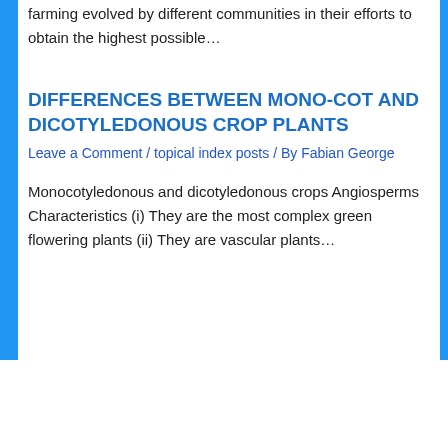farming evolved by different communities in their efforts to obtain the highest possible…
DIFFERENCES BETWEEN MONO-COT AND DICOTYLEDONOUS CROP PLANTS
Leave a Comment / topical index posts / By Fabian George
Monocotyledonous and dicotyledonous crops Angiosperms Characteristics (i) They are the most complex green flowering plants (ii) They are vascular plants…